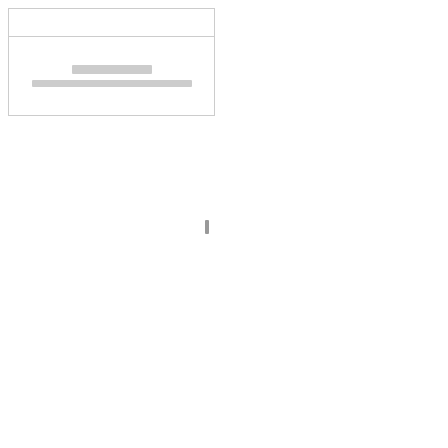[Figure (other): A box with two sections separated by a horizontal line. The top section is empty. The bottom section contains two lines of redacted/obscured text represented as grey bars.]